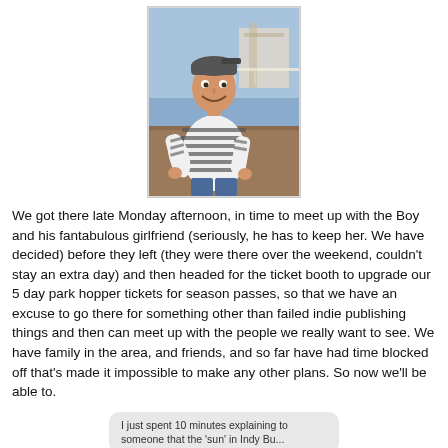[Figure (photo): A young man wearing a striped long-sleeve shirt and a backwards cap, sitting and smiling outdoors at what appears to be a theme park or outdoor venue.]
We got there late Monday afternoon, in time to meet up with the Boy and his fantabulous girlfriend (seriously, he has to keep her. We have decided) before they left (they were there over the weekend, couldn't stay an extra day) and then headed for the ticket booth to upgrade our 5 day park hopper tickets for season passes, so that we have an excuse to go there for something other than failed indie publishing things and then can meet up with the people we really want to see. We have family in the area, and friends, and so far have had time blocked off that's made it impossible to make any other plans. So now we'll be able to.
[Figure (screenshot): A screenshot of a text message or social media post reading: 'I just spent 10 minutes explaining to someone that the 'sun' in Indy Bu...']